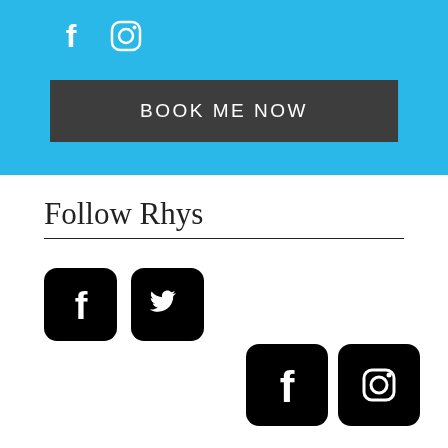Social media icons (Facebook, Instagram) and BOOK ME NOW button on blue background
Follow Rhys
[Figure (logo): Facebook icon (black rounded square) and Twitter icon (black rounded square)]
[Figure (logo): Facebook icon (black rounded square) and Instagram icon (black rounded square) in footer area]